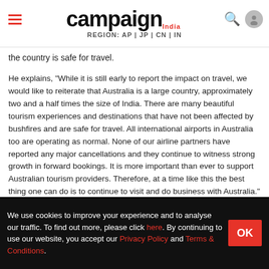campaign India — REGION: AP | JP | CN | IN
the country is safe for travel.
He explains, "While it is still early to report the impact on travel, we would like to reiterate that Australia is a large country, approximately two and a half times the size of India. There are many beautiful tourism experiences and destinations that have not been affected by bushfires and are safe for travel. All international airports in Australia too are operating as normal. None of our airline partners have reported any major cancellations and they continue to witness strong growth in forward bookings. It is more important than ever to support Australian tourism providers. Therefore, at a time like this the best thing one can do is to continue to visit and do business with Australia."
Among the 32 popular tourist zones for Indians in Australia, seven have been partially impacted by the bushfires while one (Upper Murray) has been majorly impacted.
We use cookies to improve your experience and to analyse our traffic. To find out more, please click here. By continuing to use our website, you accept our Privacy Policy and Terms & Conditions.